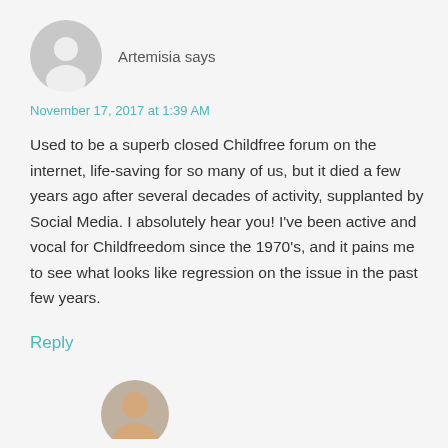[Figure (illustration): Gray circular avatar placeholder icon for user Artemisia]
Artemisia says
November 17, 2017 at 1:39 AM
Used to be a superb closed Childfree forum on the internet, life-saving for so many of us, but it died a few years ago after several decades of activity, supplanted by Social Media. I absolutely hear you! I've been active and vocal for Childfreedom since the 1970's, and it pains me to see what looks like regression on the issue in the past few years.
Reply
[Figure (photo): Partial circular avatar of a person with brown hair, cropped at bottom]